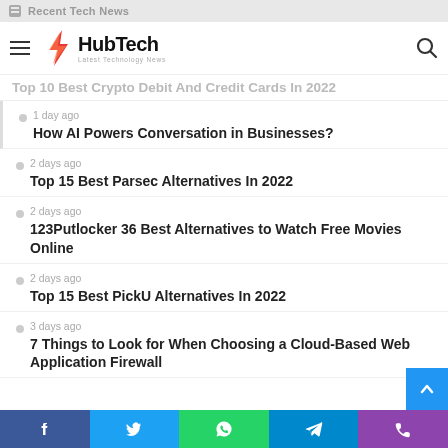Recent Tech News
[Figure (logo): HubTech - Latest Technology News logo with lightning bolt icon]
Top 10 Best Crypto Debit And Credit Cards In 2022
1 day ago
How AI Powers Conversation in Businesses?
2 days ago
Top 15 Best Parsec Alternatives In 2022
2 days ago
123Putlocker 36 Best Alternatives to Watch Free Movies Online
2 days ago
Top 15 Best PickU Alternatives In 2022
3 days ago
7 Things to Look for When Choosing a Cloud-Based Web Application Firewall
Facebook, Twitter, WhatsApp, Telegram, Phone social share buttons